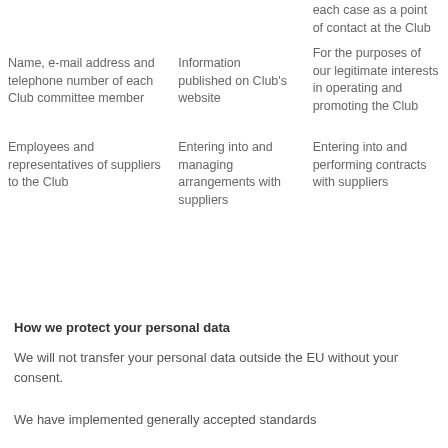|  |  | each case as a point of contact at the Club |
| Name, e-mail address and telephone number of each Club committee member | Information published on Club's website | For the purposes of our legitimate interests in operating and promoting the Club |
| Employees and representatives of suppliers to the Club | Entering into and managing arrangements with suppliers | Entering into and performing contracts with suppliers |
How we protect your personal data
We will not transfer your personal data outside the EU without your consent.
We have implemented generally accepted standards